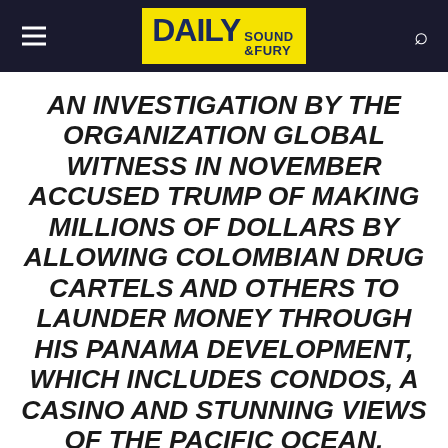DAILY SOUND & FURY
AN INVESTIGATION BY THE ORGANIZATION GLOBAL WITNESS IN NOVEMBER ACCUSED TRUMP OF MAKING MILLIONS OF DOLLARS BY ALLOWING COLOMBIAN DRUG CARTELS AND OTHERS TO LAUNDER MONEY THROUGH HIS PANAMA DEVELOPMENT, WHICH INCLUDES CONDOS, A CASINO AND STUNNING VIEWS OF THE PACIFIC OCEAN.
But everyone complaining might as well sit down ... because until it fits into the busy schedule of